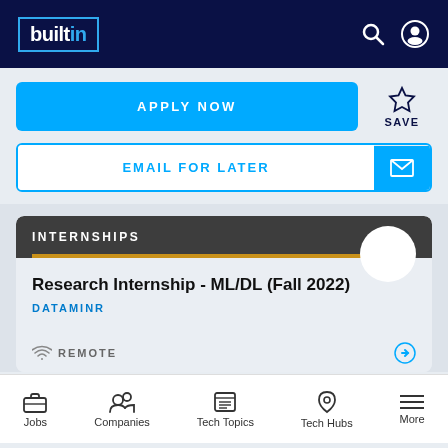builtin
APPLY NOW
SAVE
EMAIL FOR LATER
INTERNSHIPS
Research Internship - ML/DL (Fall 2022)
DATAMINR
REMOTE
Jobs  Companies  Tech Topics  Tech Hubs  More